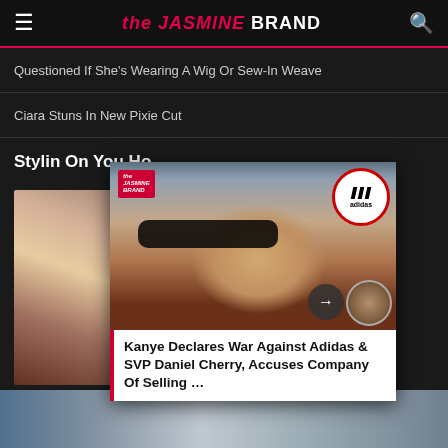the JASMINE BRAND
Questioned If She's Wearing A Wig Or Sew-In Weave
Ciara Stuns In New Pixie Cut
Stylin On You Ho...
[Figure (photo): Photo of Kanye West wearing large black sunglasses in front of Adidas logo backdrop, with overlay showing headline]
Kanye Declares War Against Adidas & SVP Daniel Cherry, Accuses Company Of Selling ...
Cassie Chills with Joseline Hernandez, Jada Pinkett Smith Surfs + More Celeb Stalking
[Figure (photo): Bottom strip photo of people on beach]